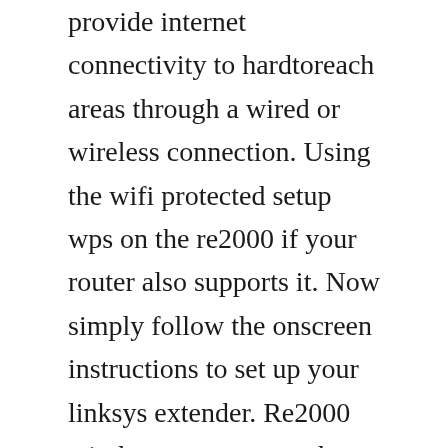provide internet connectivity to hardtoreach areas through a wired or wireless connection. Using the wifi protected setup wps on the re2000 if your router also supports it. Now simply follow the onscreen instructions to set up your linksys extender. Re2000 wirelessn range extender user manual linksys re. After 45 minutes on the the phone with a linksys tech who was hard to understand and after being directed by the linksys tech person to try many different procedures, i finally completed the sink of the. Linksys wirelessn selectable dualband range extender re2000